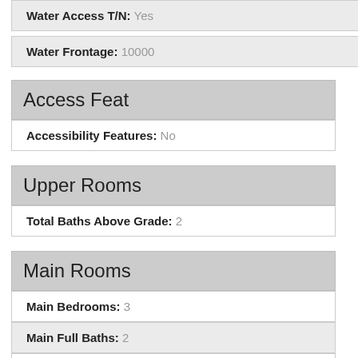Water Access T/N: Yes
Water Frontage: 10000
Access Feat
Accessibility Features: No
Upper Rooms
Total Baths Above Grade: 2
Main Rooms
Main Bedrooms: 3
Main Full Baths: 2
Main Level SQFT: 1806
Basement Rooms